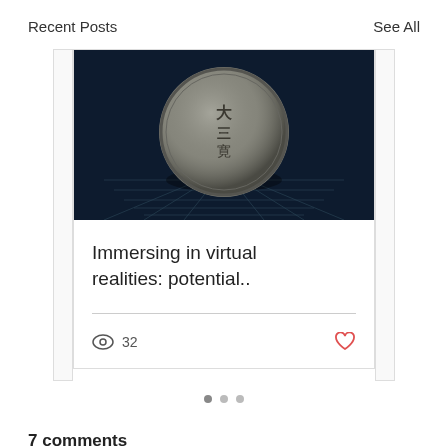Recent Posts   See All
[Figure (photo): 3D rendered ancient Chinese coin on dark navy background with perspective grid floor]
Immersing in virtual realities: potential..
32
7 comments